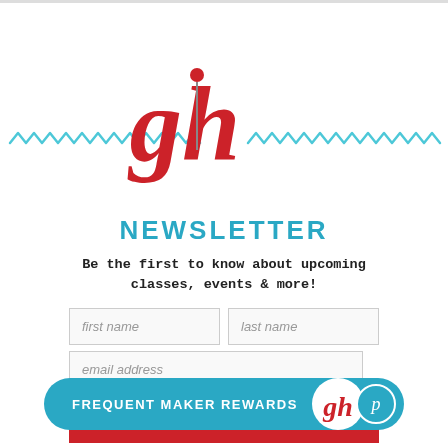[Figure (logo): Red script 'gh' logo with a knitting needle, flanked by teal zigzag decorative lines]
NEWSLETTER
Be the first to know about upcoming classes, events & more!
[Figure (screenshot): Newsletter signup form with first name, last name, email address fields and a red SUBSCRIBE button]
[Figure (infographic): Teal pill-shaped bar with text FREQUENT MAKER REWARDS and gh logo with p circle badge]